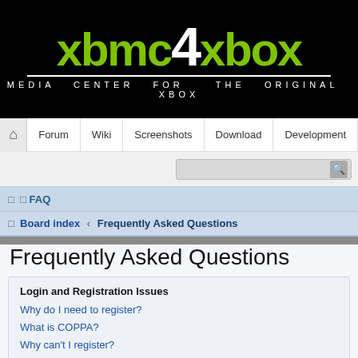[Figure (logo): XBMC4XBOX logo — green stylized text 'xbmc' and 'xbox' with white '4', white underline, subtitle 'MEDIA CENTER FOR THE ORIGINAL XBOX' on black background]
Forum | Wiki | Screenshots | Download | Development
□ □ FAQ
□ Board index ‹ Frequently Asked Questions
Frequently Asked Questions
Login and Registration Issues
Why do I need to register?
What is COPPA?
Why can't I register?
I registered but cannot login!
Why can't I login?
I registered in the past but cannot login any more?!
I've lost my password!